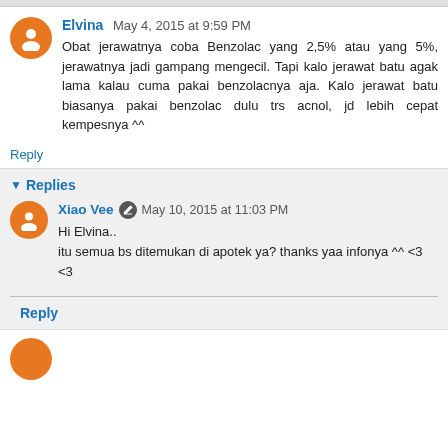Elvina May 4, 2015 at 9:59 PM
Obat jerawatnya coba Benzolac yang 2,5% atau yang 5%, jerawatnya jadi gampang mengecil. Tapi kalo jerawat batu agak lama kalau cuma pakai benzolacnya aja. Kalo jerawat batu biasanya pakai benzolac dulu trs acnol, jd lebih cepat kempesnya ^^
Reply
Replies
Xiao Vee May 10, 2015 at 11:03 PM
Hi Elvina..
itu semua bs ditemukan di apotek ya? thanks yaa infonya ^^ <3 <3
Reply